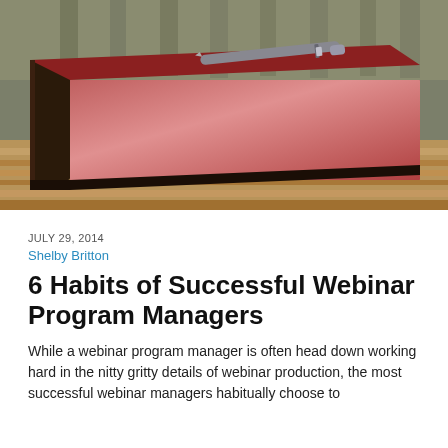[Figure (photo): A red hardcover book with a silver pen resting on top, placed on a wooden slatted bench or table outdoors.]
JULY 29, 2014
Shelby Britton
6 Habits of Successful Webinar Program Managers
While a webinar program manager is often head down working hard in the nitty gritty details of webinar production, the most successful webinar managers habitually choose to